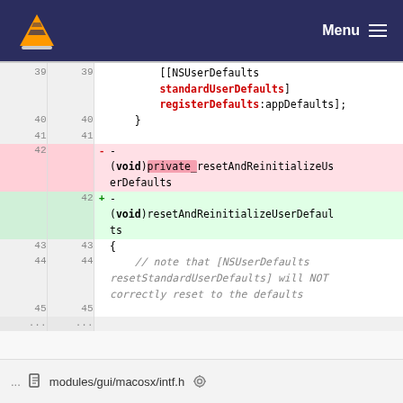VLC Menu
[Figure (screenshot): Code diff view showing Objective-C source code lines 39-45 and line 42 diff. Line 42 deleted: - (void)private_resetAndReinitializeUserDefaults, Line 42 added: + (void)resetAndReinitializeUserDefaults. Lines 39-41 and 43-45 show context including [[NSUserDefaults standardUserDefaults] registerDefaults:appDefaults]; } and { // note that [NSUserDefaults resetStandardUserDefaults] will NOT correctly reset to the defaults]
... modules/gui/macosx/intf.h